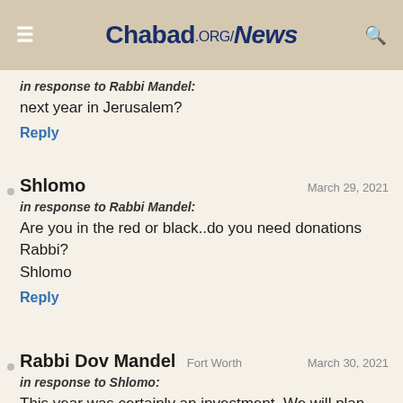Chabad.ORG/News
in response to Rabbi Mandel:
next year in Jerusalem?
Reply
Shlomo  March 29, 2021
in response to Rabbi Mandel:
Are you in the red or black..do you need donations Rabbi?
Shlomo
Reply
Rabbi Dov Mandel  Fort Worth  March 30, 2021
in response to Shlomo:
This year was certainly an investment. We will plan according to what we have learned to be profitable next year. You can find our site on